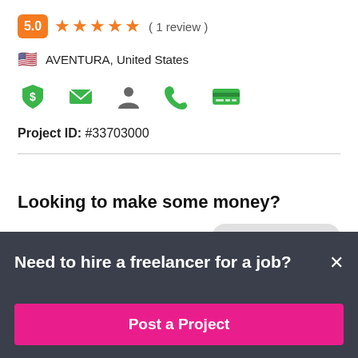5.0 ★★★★★ ( 1 review )
🇺🇸 AVENTURA, United States
[Figure (infographic): Row of 5 green verification/contact icons: shield with dollar, envelope, person, phone, credit card]
Project ID: #33703000
Looking to make some money?
PROJECT CLOSED
Your email address
Need to hire a freelancer for a job?
Post a Project